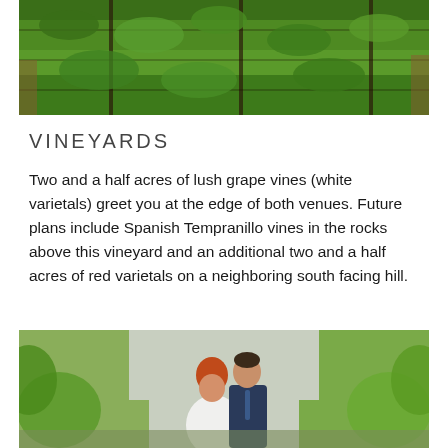[Figure (photo): Aerial or close-up view of lush green grape vines on a trellis system with a brick or wooden structure visible in the background.]
VINEYARDS
Two and a half acres of lush grape vines (white varietals) greet you at the edge of both venues. Future plans include Spanish Tempranillo vines in the rocks above this vineyard and an additional two and a half acres of red varietals on a neighboring south facing hill.
[Figure (photo): A couple embracing in a vineyard setting. The woman has red hair and wears a white dress; the man wears a dark navy suit. Green leafy vines surround them.]